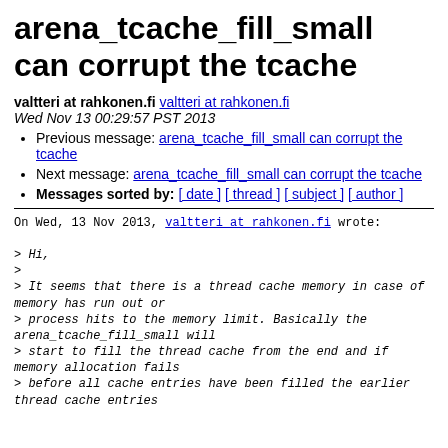arena_tcache_fill_small can corrupt the tcache
valtteri at rahkonen.fi   valtteri at rahkonen.fi
Wed Nov 13 00:29:57 PST 2013
Previous message: arena_tcache_fill_small can corrupt the tcache
Next message: arena_tcache_fill_small can corrupt the tcache
Messages sorted by: [ date ] [ thread ] [ subject ] [ author ]
On Wed, 13 Nov 2013, valtteri at rahkonen.fi wrote:

> Hi,
>
> It seems that there is a thread cache memory in case of memory has run out or
> process hits to the memory limit. Basically the arena_tcache_fill_small will
> start to fill the thread cache from the end and if memory allocation fails
> before all cache entries have been filled the earlier thread cache entries